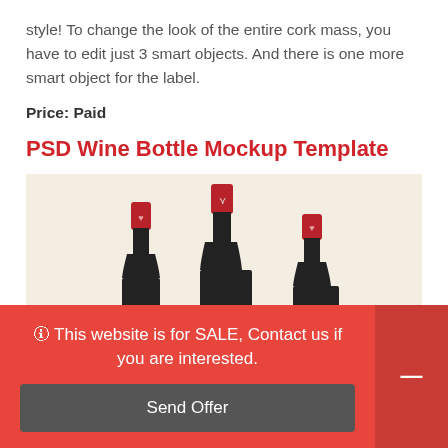style! To change the look of the entire cork mass, you have to edit just 3 smart objects. And there is one more smart object for the label.
Price: Paid
PSD Wine Bottle Mockup Template
[Figure (photo): Three dark wine bottles with red caps/foil on a beige/cream background]
🛈 This website is for SALE, Contact us if you are interested.
Send Offer